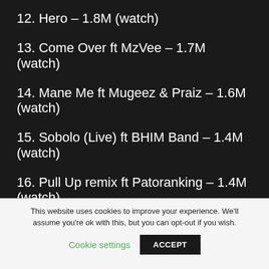12. Hero – 1.8M (watch)
13. Come Over ft MzVee – 1.7M (watch)
14. Mane Me ft Mugeez & Praiz – 1.6M (watch)
15. Sobolo (Live) ft BHIM Band – 1.4M (watch)
16. Pull Up remix ft Patoranking – 1.4M (watch)
17. Tuff Seed – 1.4M (watch)
This website uses cookies to improve your experience. We'll assume you're ok with this, but you can opt-out if you wish.
Cookie settings  ACCEPT